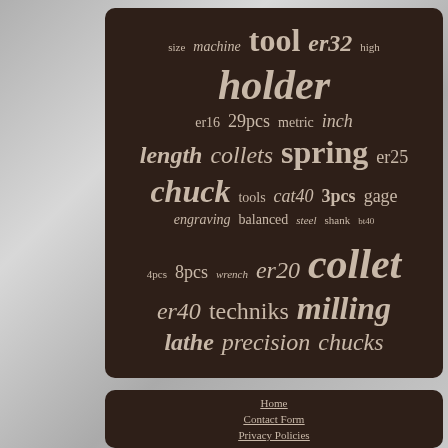[Figure (infographic): Word cloud of machining and tooling related terms on a dark brown background. Terms include: tool, er32, machine, size, high, holder, er16, 29pcs, metric, inch, length, collets, spring, er25, chuck, tools, cat40, 3pcs, gage, engraving, balanced, steel, shank, bt40, 4pcs, 8pcs, wrench, er20, collet, er40, techniks, milling, lathe, precision, chucks]
Home
Contact Form
Privacy Policies